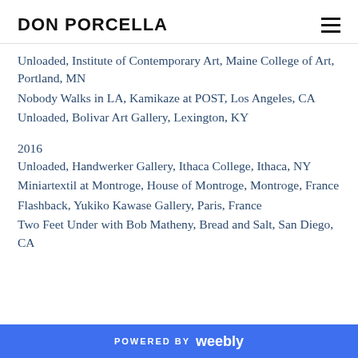DON PORCELLA
Unloaded, Institute of Contemporary Art, Maine College of Art, Portland, MN
Nobody Walks in LA, Kamikaze at POST, Los Angeles, CA
Unloaded, Bolivar Art Gallery, Lexington, KY
2016
Unloaded, Handwerker Gallery, Ithaca College, Ithaca, NY
Miniartextil at Montroge, House of Montroge, Montroge, France
Flashback, Yukiko Kawase Gallery, Paris, France
Two Feet Under with Bob Matheny, Bread and Salt, San Diego, CA
POWERED BY weebly